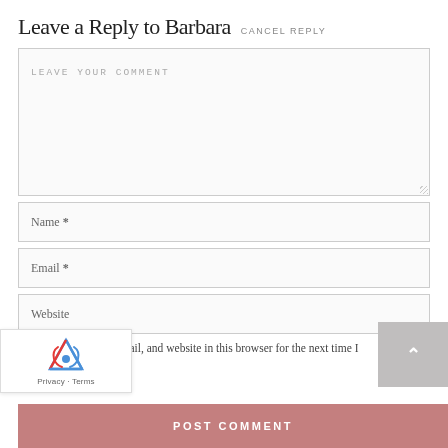Leave a Reply to Barbara CANCEL REPLY
LEAVE YOUR COMMENT
Name *
Email *
Website
Save my name, email, and website in this browser for the next time I
[Figure (logo): reCAPTCHA badge with robot icon and Privacy - Terms text]
POST COMMENT